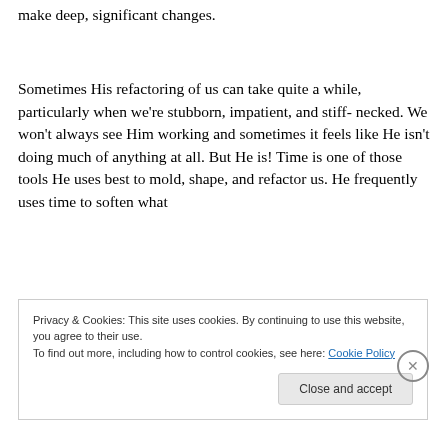make deep, significant changes.
Sometimes His refactoring of us can take quite a while, particularly when we're stubborn, impatient, and stiff-necked. We won't always see Him working and sometimes it feels like He isn't doing much of anything at all. But He is! Time is one of those tools He uses best to mold, shape, and refactor us. He frequently uses time to soften what
Privacy & Cookies: This site uses cookies. By continuing to use this website, you agree to their use.
To find out more, including how to control cookies, see here: Cookie Policy